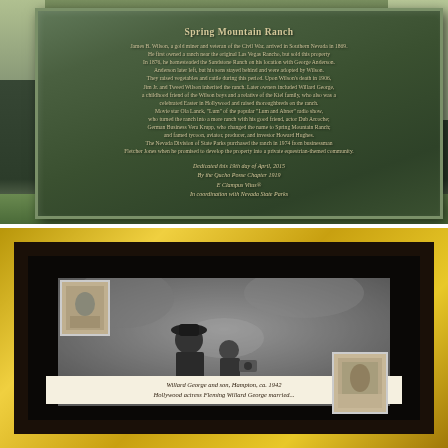[Figure (photo): Outdoor photograph of a large granite historical marker plaque for 'Spring Mountain Ranch'. The dark green granite plaque is mounted on a concrete base and contains a lengthy inscription about the history of the ranch, followed by a dedication dated April 19, 2015, by the Qucho Posse Chapter 1919, E Clampus Vitus, in coordination with Nevada State Parks.]
[Figure (photo): Photograph of a gold-framed collage display in a dark mat. Contains a main black-and-white photograph of two people (likely Willard George and son Hampton), with two smaller inset photographs. A handwritten or printed caption at the bottom reads 'Willard George and son, Hampton, ca. 1942' followed by partial text on a second line.]
Willard George and son, Hampton, ca. 1942